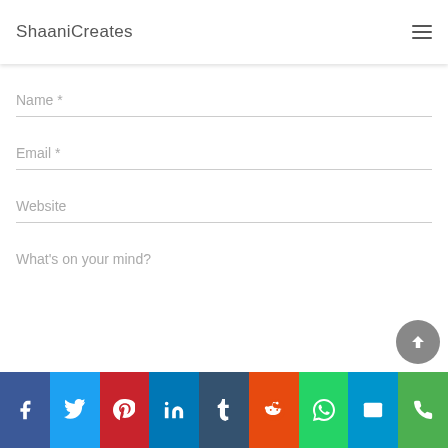ShaaniCreates
Name *
Email *
Website
What's on your mind?
[Figure (infographic): Social media sharing bar with icons: Facebook, Twitter, Pinterest, LinkedIn, Tumblr, Reddit, WhatsApp, Email, Phone]